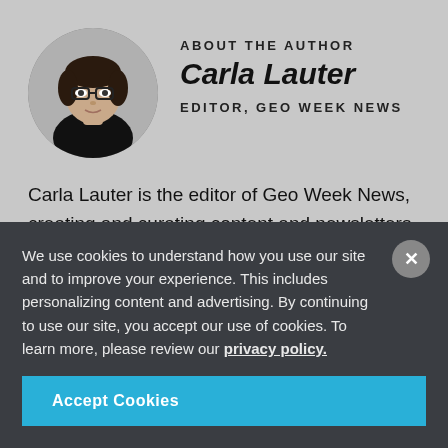[Figure (photo): Circular headshot photo of Carla Lauter, a woman with dark hair, glasses, wearing a black top]
ABOUT THE AUTHOR
Carla Lauter
EDITOR, GEO WEEK NEWS
Carla Lauter is the editor of Geo Week News, creating and curating content and newsletters in support of Geo Week. Before joining Diversified Communications, Carla spent 10 years on NASA and National Science
We use cookies to understand how you use our site and to improve your experience. This includes personalizing content and advertising. By continuing to use our site, you accept our use of cookies. To learn more, please review our privacy policy.
Accept Cookies